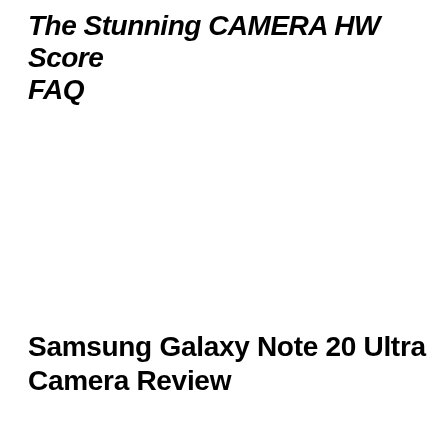The Stunning CAMERA HW Score FAQ
Samsung Galaxy Note 20 Ultra Camera Review